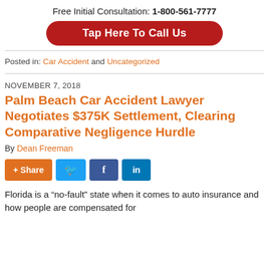Free Initial Consultation: 1-800-561-7777
[Figure (other): Red rounded button: Tap Here To Call Us]
Posted in: Car Accident and Uncategorized
NOVEMBER 7, 2018
Palm Beach Car Accident Lawyer Negotiates $375K Settlement, Clearing Comparative Negligence Hurdle
By Dean Freeman
[Figure (other): Social share buttons: + Share, Twitter, Facebook, LinkedIn]
Florida is a “no-fault” state when it comes to auto insurance and how people are compensated for